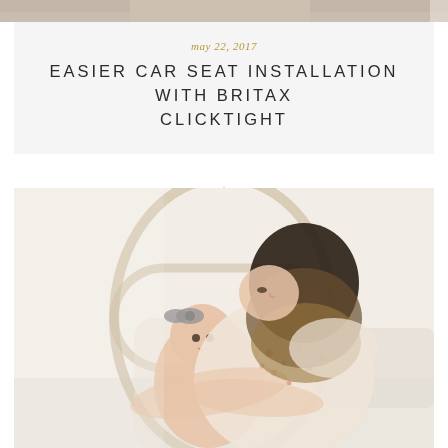[Figure (photo): Partial top photo strip showing a cropped image, light beige/neutral tones]
may 22, 2017
EASIER CAR SEAT INSTALLATION WITH BRITAX CLICKTIGHT
[Figure (photo): A mother in a floral dress holding and looking down at her baby, seated in a light-colored chair. The baby is wearing a grey bow headband and looking at the camera.]